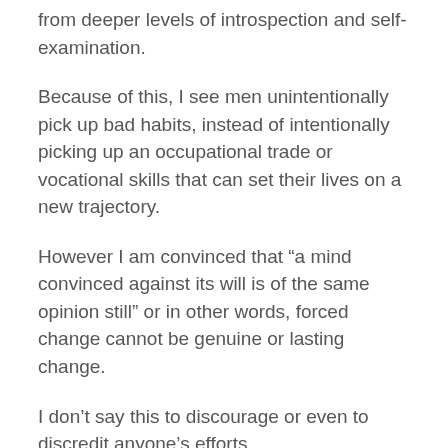from deeper levels of introspection and self-examination.
Because of this, I see men unintentionally pick up bad habits, instead of intentionally picking up an occupational trade or vocational skills that can set their lives on a new trajectory.
However I am convinced that “a mind convinced against its will is of the same opinion still” or in other words, forced change cannot be genuine or lasting change.
I don’t say this to discourage or even to discredit anyone’s efforts.
As I bare witness of the many men who work endlessly to improve their conditions both inside and outside of prison while trying to make amends for the wrongful acts they committed.